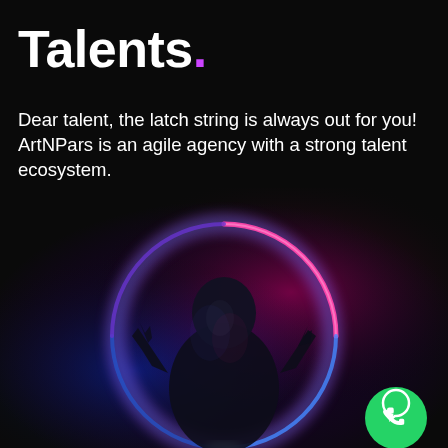Talents.
Dear talent, the latch string is always out for you! ArtNPars is an agile agency with a strong talent ecosystem.
Join Us
[Figure (illustration): 3D rendered humanoid figure with neon blue and pink/magenta circular glow ring, posing with hands raised, on dark background. Green WhatsApp icon button in bottom right.]